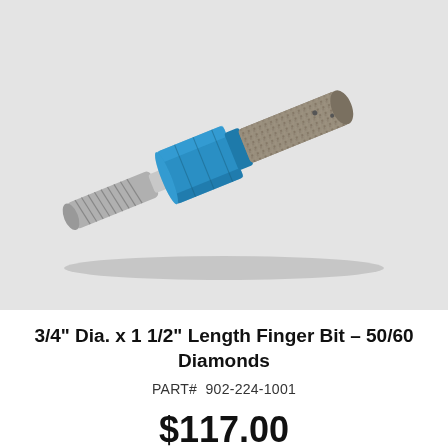[Figure (photo): A diamond finger bit tool with a blue hexagonal body/collar, threaded silver metal shank on the left, and a cylindrical diamond-coated grinding tip on the right. The tool is photographed diagonally on a light gray background.]
3/4" Dia. x 1 1/2" Length Finger Bit – 50/60 Diamonds
PART#  902-224-1001
$117.00